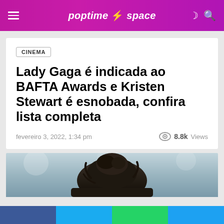poptime · space
CINEMA
Lady Gaga é indicada ao BAFTA Awards e Kristen Stewart é esnobada, confira lista completa
fevereiro 3, 2022, 1:34 pm  8.8k Views
[Figure (photo): Photo of a person viewed from behind, showing dark hair against a blurred light background]
Social sharing bar: Facebook, Twitter, WhatsApp, Twitter